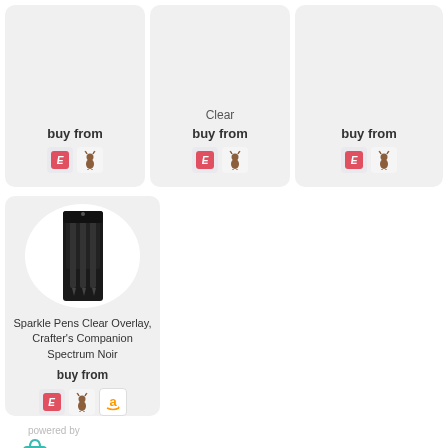buy from
[Figure (other): Etsy and small deer retailer icons]
Clear
buy from
[Figure (other): Etsy and small deer retailer icons]
buy from
[Figure (other): Etsy and small deer retailer icons]
[Figure (photo): Sparkle Pens Clear Overlay product package — 3 black pens in plastic packaging]
Sparkle Pens Clear Overlay, Crafter's Companion Spectrum Noir
buy from
[Figure (other): Etsy, small deer, and Amazon retailer icons]
powered by
[Figure (logo): linkdeli logo with teal shopping bag icon and gray/teal text]